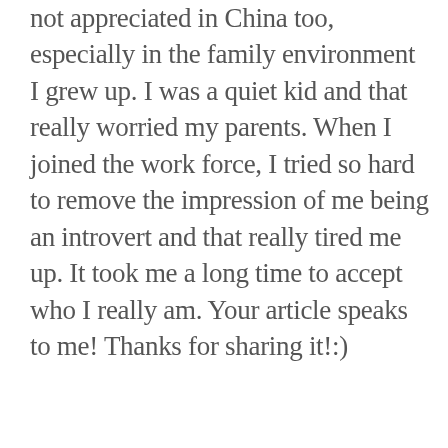not appreciated in China too, especially in the family environment I grew up. I was a quiet kid and that really worried my parents. When I joined the work force, I tried so hard to remove the impression of me being an introvert and that really tired me up. It took me a long time to accept who I really am. Your article speaks to me! Thanks for sharing it!:)
★ Liked by 4 people
[Figure (photo): Profile thumbnail image showing a dark background with a robot/alien figure and small text reading '...G WORLD...' at top]
Jamison Annias Banks III